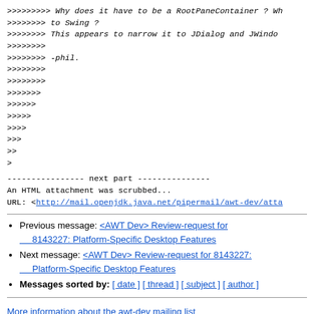>>>>>>>>> Why does it have to be a RootPaneContainer ? Wh
>>>>>>>>> to Swing ?
>>>>>>>>> This appears to narrow it to JDialog and JWindo
>>>>>>>>>
>>>>>>>>> -phil.
>>>>>>>>>
>>>>>>>>
>>>>>>>
>>>>>>
>>>>>
>>>>
>>>
>>
>
---------------- next part ---------------
An HTML attachment was scrubbed...
URL: <http://mail.openjdk.java.net/pipermail/awt-dev/atta
Previous message: <AWT Dev> Review-request for 8143227: Platform-Specific Desktop Features
Next message: <AWT Dev> Review-request for 8143227: Platform-Specific Desktop Features
Messages sorted by: [ date ] [ thread ] [ subject ] [ author ]
More information about the awt-dev mailing list